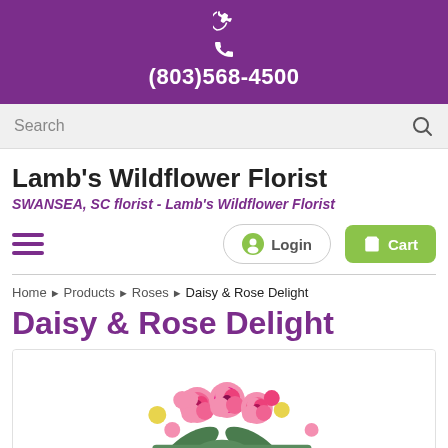(803)568-4500
Search
Lamb's Wildflower Florist
SWANSEA, SC florist - Lamb's Wildflower Florist
Login  Cart
Home › Products › Roses › Daisy & Rose Delight
Daisy & Rose Delight
[Figure (photo): Photo of a floral arrangement featuring pink roses and white daisy flowers in a bouquet]